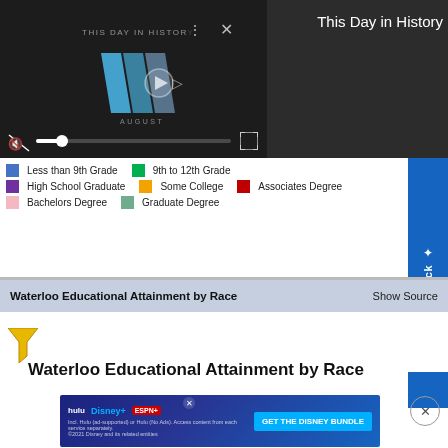[Figure (screenshot): Video player showing 'This Day in History' with play controls, muted speaker icon, progress bar, and fullscreen button on dark background]
This Day in History
[Figure (infographic): Chart legend showing education level color codes: Less than 9th Grade (blue), 9th to 12th Grade (green), High School Graduate (purple), Some College (orange), Associates Degree (red), Bachelors Degree (pink), Graduate Degree (teal)]
Less than 9th Grade	9th to 12th Grade
High School Graduate	Some College	Associates Degree
Bachelors Degree	Graduate Degree
Waterloo Educational Attainment by Race
Show Source
Waterloo Educational Attainment by Race
[Figure (advertisement): Hulu Disney+ ESPN+ GET THE DISNEY BUNDLE advertisement banner]